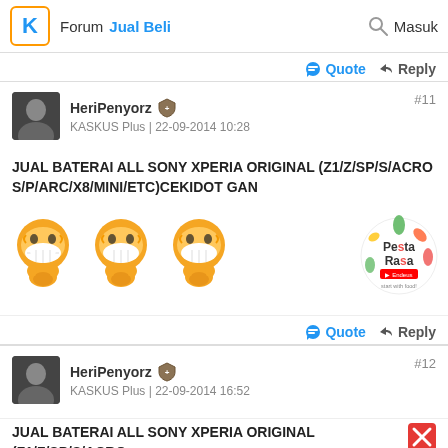Forum Jual Beli   Masuk
Quote   Reply
HeriPenyorz  KASKUS Plus | 22-09-2014 10:28   #11
JUAL BATERAI ALL SONY XPERIA ORIGINAL (Z1/Z/SP/S/ACRO S/P/ARC/X8/MINI/ETC)CEKIDOT GAN
[Figure (illustration): Three laughing emoji figures and a Pesta Rasa logo advertisement]
Quote   Reply
HeriPenyorz  KASKUS Plus | 22-09-2014 16:52   #12
JUAL BATERAI ALL SONY XPERIA ORIGINAL (Z1/Z/SP/S/ACRO